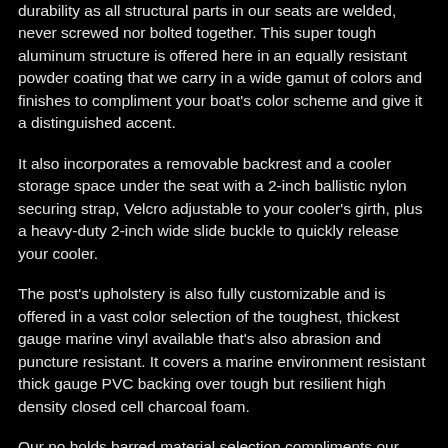durability as all structural parts in our seats are welded, never screwed nor bolted together.  This super tough aluminum structure is offered here in an equally resistant powder coating that we carry in a wide gamut of colors and finishes to compliment your boat's color scheme and give it a distinguished accent.
It also incorporates a removable backrest and a cooler storage space under the seat with a 2-inch ballistic nylon securing strap, Velcro adjustable to your cooler's girth, plus a heavy-duty 2-inch wide slide buckle to quickly release your cooler.
The post's upholstery is also fully customizable and is offered in a vast color selection of the toughest, thickest gauge marine vinyl available that's also abrasion and puncture resistant.  It covers a marine environment resistant thick gauge PVC backing over tough but resilient high density closed cell charcoal foam.
Our no holds barred material selection compliments our superior craftsmanship and uncompromising attention to detail and comes together in a high-value seat that will serve you for many seasons with minimum or no maintenance needed. And to show we mean no empty boast on our